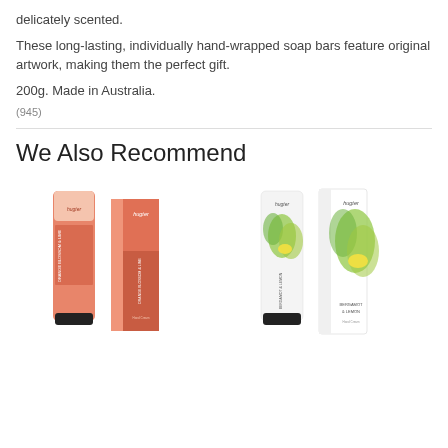delicately scented.
These long-lasting, individually hand-wrapped soap bars feature original artwork, making them the perfect gift.
200g. Made in Australia.
(945)
We Also Recommend
[Figure (photo): Two Huxter Orange Blossom & Lime hand cream products: a tube and a box, in coral/salmon color.]
[Figure (photo): Two Huxter Bergamot & Lemon hand cream products: a white tube and a white box with green botanical illustrations.]